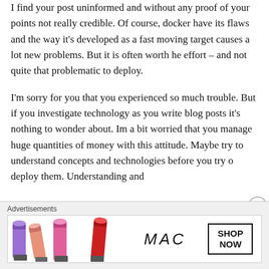I find your post uninformed and without any proof of your points not really credible. Of course, docker have its flaws and the way it's developed as a fast moving target causes a lot new problems. But it is often worth he effort – and not quite that problematic to deploy.
I'm sorry for you that you experienced so much trouble. But if you investigate technology as you write blog posts it's nothing to wonder about. Im a bit worried that you manage huge quantities of money with this attitude. Maybe try to understand concepts and technologies before you try o deploy them. Understanding and
Advertisements
[Figure (photo): MAC cosmetics advertisement banner showing lipsticks in purple, peach, and pink colors alongside lipstick tubes, MAC logo, and a 'SHOP NOW' button box.]